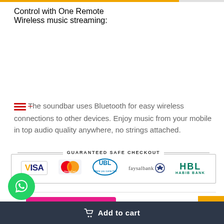Control with One Remote Wireless music streaming:
The soundbar uses Bluetooth for easy wireless connections to other devices. Enjoy music from your mobile in top audio quality anywhere, no strings attached.
[Figure (infographic): Guaranteed Safe Checkout banner with payment logos: VISA, MasterCard, UBL, faysabank, HBL Habib Bank]
How to Pay?
Add to cart